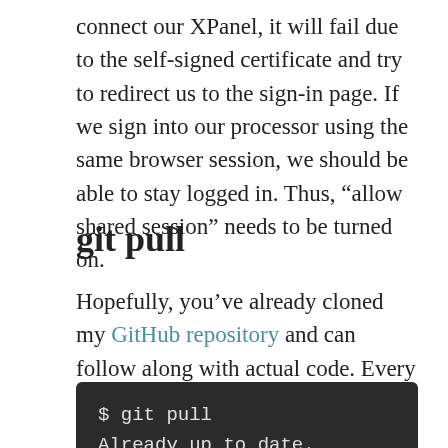connect our XPanel, it will fail due to the self-signed certificate and try to redirect us to the sign-in page. If we sign into our processor using the same browser session, we should be able to stay logged in. Thus, “allow shared session” needs to be turned on.
git pull
Hopefully, you’ve already cloned my GitHub repository and can follow along with actual code. Every time I start a new post, I like to open Git Bash and type:
$ git pull
Already up to date.